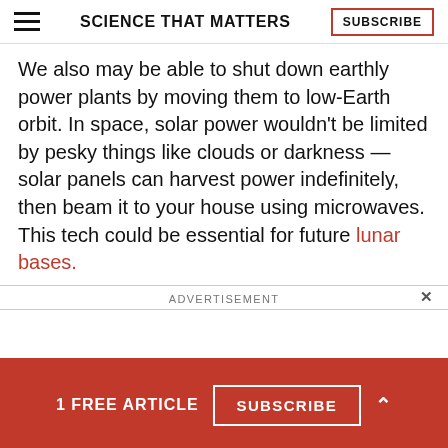SCIENCE THAT MATTERS
We also may be able to shut down earthly power plants by moving them to low-Earth orbit. In space, solar power wouldn't be limited by pesky things like clouds or darkness — solar panels can harvest power indefinitely, then beam it to your house using microwaves. This tech could be essential for future lunar bases.
ADVERTISEMENT
1 FREE ARTICLE  SUBSCRIBE